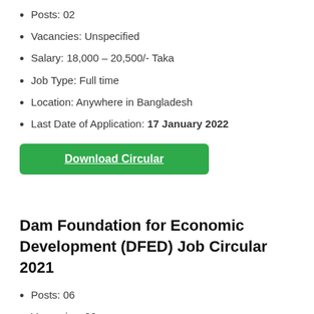Posts: 02
Vacancies: Unspecified
Salary: 18,000 – 20,500/- Taka
Job Type: Full time
Location: Anywhere in Bangladesh
Last Date of Application: 17 January 2022
[Figure (other): Green download button labeled 'Download Circular']
Dam Foundation for Economic Development (DFED) Job Circular 2021
Posts: 06
Vacancies: 06
Salary: 11,610 – 26,640/- Taka
Job Type: Full time